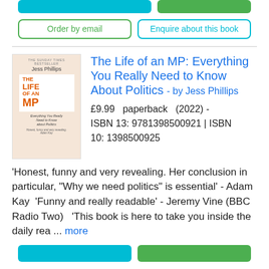[Figure (other): Two teal filled buttons partially visible at top of page]
Order by email
Enquire about this book
[Figure (photo): Book cover of 'The Life of an MP' by Jess Phillips, orange title text on cream/beige background]
The Life of an MP: Everything You Really Need to Know About Politics - by Jess Phillips
£9.99   paperback   (2022) - ISBN 13: 9781398500921 | ISBN 10: 1398500925
'Honest, funny and very revealing. Her conclusion in particular, “Why we need politics” is essential' - Adam Kay  'Funny and really readable' - Jeremy Vine (BBC Radio Two)   'This book is here to take you inside the daily rea ... more
[Figure (other): Two buttons at bottom: teal and green filled buttons partially visible]